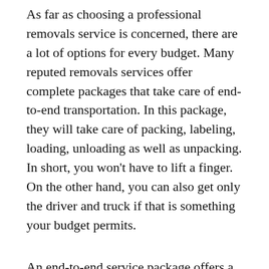As far as choosing a professional removals service is concerned, there are a lot of options for every budget. Many reputed removals services offer complete packages that take care of end-to-end transportation. In this package, they will take care of packing, labeling, loading, unloading as well as unpacking. In short, you won't have to lift a finger. On the other hand, you can also get only the driver and truck if that is something your budget permits.
An end-to-end service package offers a number of advantages. First and foremost, you won't have to worry about your things and you can spend your time planning other things related to your move. Don't forget to check detailed reviews of several moving companies before choosing one.